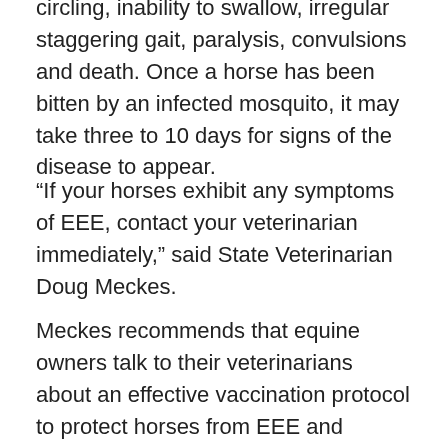circling, inability to swallow, irregular staggering gait, paralysis, convulsions and death. Once a horse has been bitten by an infected mosquito, it may take three to 10 days for signs of the disease to appear.
“If your horses exhibit any symptoms of EEE, contact your veterinarian immediately,” said State Veterinarian Doug Meckes.
Meckes recommends that equine owners talk to their veterinarians about an effective vaccination protocol to protect horses from EEE and another mosquito-borne disease, West Nile virus. The combo vaccination initially requires two shots, 30 days apart, for horses, mules and donkeys that have no prior vaccination history. Meckes recommends a booster shot every six